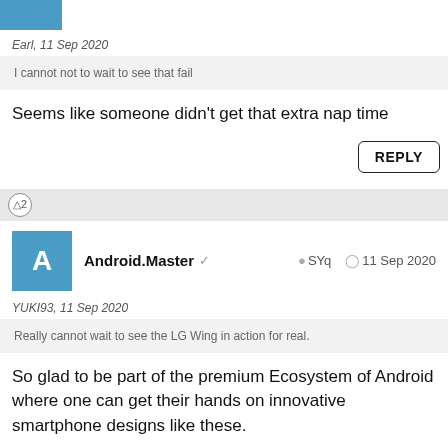[Figure (other): Blue avatar box cropped at top, partial username text]
Earl, 11 Sep 2020
I cannot not to wait to see that fail
Seems like someone didn't get that extra nap time
REPLY
2
Android.Master ✓  SYq  11 Sep 2020
YUKI93, 11 Sep 2020
Really cannot wait to see the LG Wing in action for real.
So glad to be part of the premium Ecosystem of Android where one can get their hands on innovative smartphone designs like these.
I am sure they'll be a bunch of people complaining about price over